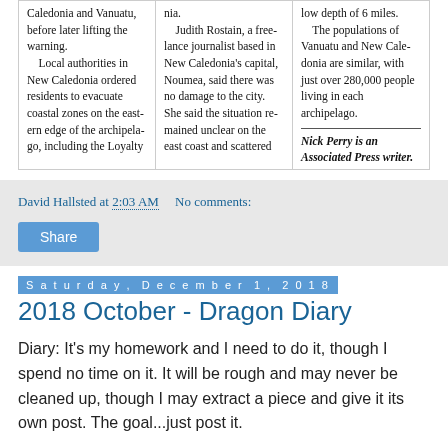Caledonia and Vanuatu, before later lifting the warning.
    Local authorities in New Caledonia ordered residents to evacuate coastal zones on the eastern edge of the archipelago, including the Loyalty
nia.
    Judith Rostain, a freelance journalist based in New Caledonia's capital, Noumea, said there was no damage to the city. She said the situation remained unclear on the east coast and scattered
low depth of 6 miles.
    The populations of Vanuatu and New Caledonia are similar, with just over 280,000 people living in each archipelago.

Nick Perry is an Associated Press writer.
David Hallsted at 2:03 AM    No comments:
Share
Saturday, December 1, 2018
2018 October - Dragon Diary
Diary: It's my homework and I need to do it, though I spend no time on it. It will be rough and may never be cleaned up, though I may extract a piece and give it its own post. The goal...just post it.
--------------------------------------------------------------------------------------------------------
------------------------------------
Quote: "He may know most of it, but not quite." Bart